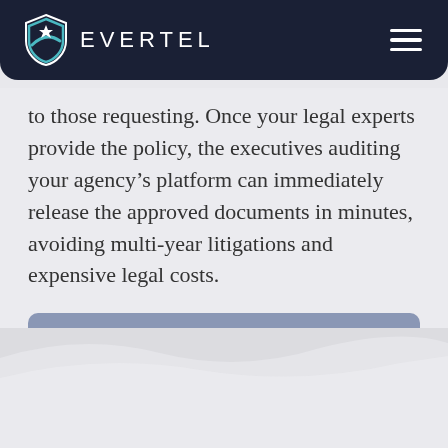EVERTEL
to those requesting. Once your legal experts provide the policy, the executives auditing your agency's platform can immediately release the approved documents in minutes, avoiding multi-year litigations and expensive legal costs.
[Figure (infographic): Clickable button/link: Gov't litigation costs exceeded $40 million for the FY with external link icon]